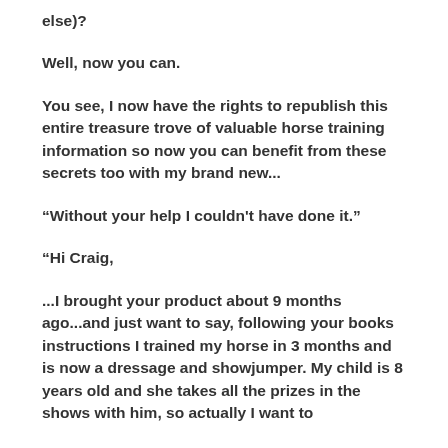else)?
Well, now you can.
You see, I now have the rights to republish this entire treasure trove of valuable horse training information so now you can benefit from these secrets too with my brand new...
“Without your help I couldn't have done it.”
“Hi Craig,
...I brought your product about 9 months ago...and just want to say, following your books instructions I trained my horse in 3 months and is now a dressage and showjumper. My child is 8 years old and she takes all the prizes in the shows with him, so actually I want to